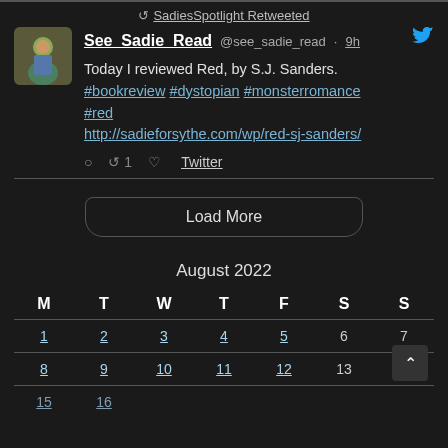SadiesSpotlight Retweeted
See_Sadie_Read @see_sadie_read · 9h
Today I reviewed Red, by S.J. Sanders. #bookreview #dystopian #monsterromance #red http://sadieforsythe.com/wp/red-sj-sanders/
Load More
August 2022
| M | T | W | T | F | S | S |
| --- | --- | --- | --- | --- | --- | --- |
| 1 | 2 | 3 | 4 | 5 | 6 | 7 |
| 8 | 9 | 10 | 11 | 12 | 13 | 14 |
| 15 | 16 | 17 | 18 | 19 | 20 | 21 |